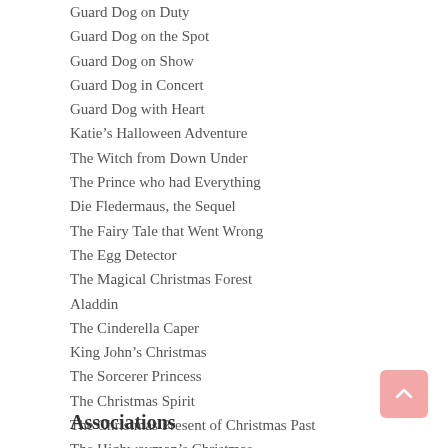Guard Dog on Duty
Guard Dog on the Spot
Guard Dog on Show
Guard Dog in Concert
Guard Dog with Heart
Katie’s Halloween Adventure
The Witch from Down Under
The Prince who had Everything
Die Fledermaus, the Sequel
The Fairy Tale that Went Wrong
The Egg Detector
The Magical Christmas Forest
Aladdin
The Cinderella Caper
King John’s Christmas
The Sorcerer Princess
The Christmas Spirit
The Christmas Present of Christmas Past
The Highwayman’s Christmas
Associations